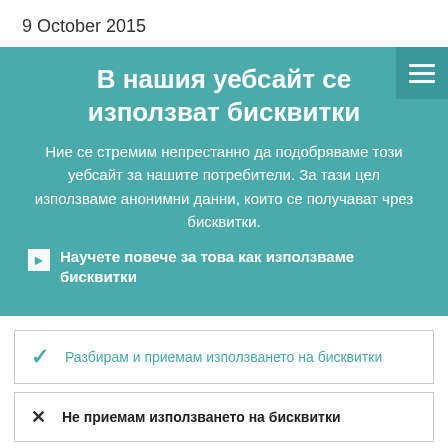9 October 2015
В нашия уебсайт се използват бисквитки
Ние се стремим непрестанно да подобряваме този уебсайт за нашите потребители. За тази цел използваме анонимни данни, които се получават чрез бисквитки.
Научете повече за това как използваме бисквитки
Разбирам и приемам използването на бисквитки
Не приемам използването на бисквитки